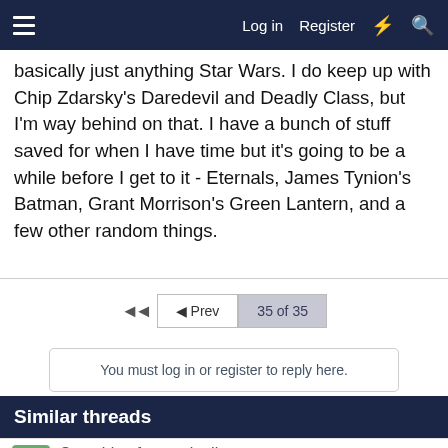Log in   Register
basically just anything Star Wars. I do keep up with Chip Zdarsky's Daredevil and Deadly Class, but I'm way behind on that. I have a bunch of stuff saved for when I have time but it's going to be a while before I get to it - Eternals, James Tynion's Batman, Grant Morrison's Green Lantern, and a few other random things.
◄  ◄ Prev  35 of 35
You must log in or register to reply here.
Similar threads
Searching for comic digest
WarDoc · General Comics
Replies: 0 · Mar 29, 2022
Star Wars serialized Comic from early 2000's: